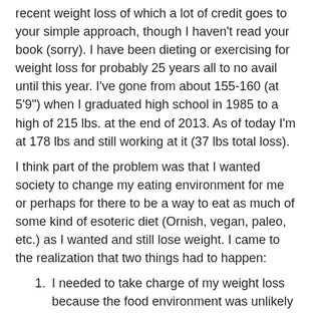recent weight loss of which a lot of credit goes to your simple approach, though I haven't read your book (sorry). I have been dieting or exercising for weight loss for probably 25 years all to no avail until this year. I've gone from about 155-160 (at 5'9") when I graduated high school in 1985 to a high of 215 lbs. at the end of 2013. As of today I'm at 178 lbs and still working at it (37 lbs total loss).
I think part of the problem was that I wanted society to change my eating environment for me or perhaps for there to be a way to eat as much of some kind of esoteric diet (Ornish, vegan, paleo, etc.) as I wanted and still lose weight. I came to the realization that two things had to happen:
I needed to take charge of my weight loss because the food environment was unlikely to change.
I needed something that was guaranteed to work and would be simple.
I'm fairly well read on the literature so I took your advice along with some others and just started. My plan was simple:
Set a fixed calorie amount per day – in my